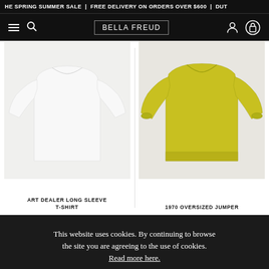THE SPRING SUMMER SALE | FREE DELIVERY ON ORDERS OVER $600 | DUT
[Figure (screenshot): Bella Freud website navigation bar with hamburger menu, search icon, BELLA FREUD logo in bordered box, user account icon, and shopping bag icon on black background]
[Figure (photo): White long sleeve t-shirt product photo on light background]
[Figure (photo): Yellow/mustard oversized jumper product photo on light background]
ART DEALER LONG SLEEVE T-SHIRT
1970 OVERSIZED JUMPER
This website uses cookies. By continuing to browse the site you are agreeing to the use of cookies. Read more here.
ACCEPT & CLOSE